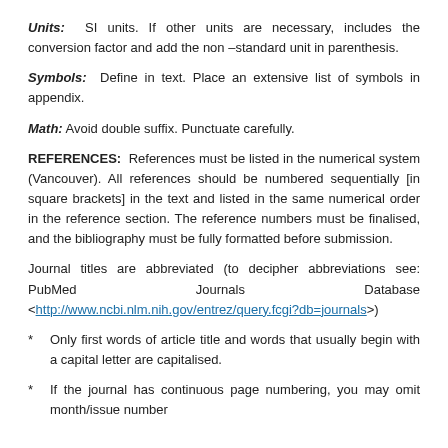Units: SI units. If other units are necessary, includes the conversion factor and add the non –standard unit in parenthesis.
Symbols: Define in text. Place an extensive list of symbols in appendix.
Math: Avoid double suffix. Punctuate carefully.
REFERENCES: References must be listed in the numerical system (Vancouver). All references should be numbered sequentially [in square brackets] in the text and listed in the same numerical order in the reference section. The reference numbers must be finalised, and the bibliography must be fully formatted before submission.
Journal titles are abbreviated (to decipher abbreviations see: PubMed Journals Database <http://www.ncbi.nlm.nih.gov/entrez/query.fcgi?db=journals>)
* Only first words of article title and words that usually begin with a capital letter are capitalised.
* If the journal has continuous page numbering, you may omit month/issue number